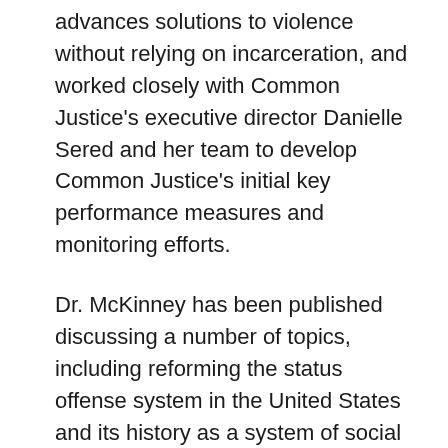advances solutions to violence without relying on incarceration, and worked closely with Common Justice's executive director Danielle Sered and her team to develop Common Justice's initial key performance measures and monitoring efforts.
Dr. McKinney has been published discussing a number of topics, including reforming the status offense system in the United States and its history as a system of social control over girls, as well as developing systems for monitoring change within organizations in order to strengthen their efficacy and impact on the individuals and